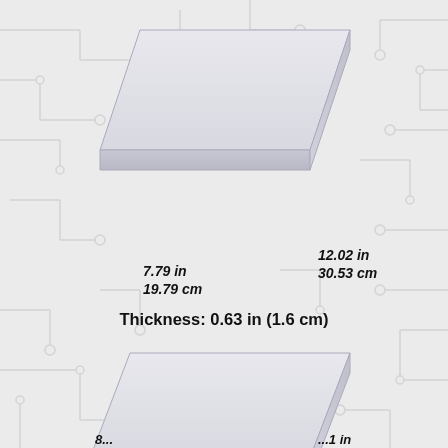[Figure (engineering-diagram): Two isometric views of flat rectangular slabs/panels shown floating with circuit board pattern background. Top panel shows dimensions 7.79 in / 19.79 cm (width) and 12.02 in / 30.53 cm (length) with thickness 0.63 in (1.6 cm). Bottom panel is partially visible at the bottom of the page.]
7.79 in
19.79 cm
12.02 in
30.53 cm
Thickness: 0.63 in (1.6 cm)